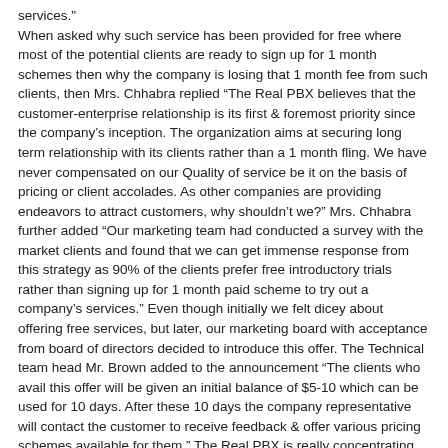services."
When asked why such service has been provided for free where most of the potential clients are ready to sign up for 1 month schemes then why the company is losing that 1 month fee from such clients, then Mrs. Chhabra replied “The Real PBX believes that the customer-enterprise relationship is its first & foremost priority since the company’s inception. The organization aims at securing long term relationship with its clients rather than a 1 month fling. We have never compensated on our Quality of service be it on the basis of pricing or client accolades. As other companies are providing endeavors to attract customers, why shouldn’t we?” Mrs. Chhabra further added “Our marketing team had conducted a survey with the market clients and found that we can get immense response from this strategy as 90% of the clients prefer free introductory trials rather than signing up for 1 month paid scheme to try out a company’s services.” Even though initially we felt dicey about offering free services, but later, our marketing board with acceptance from board of directors decided to introduce this offer. The Technical team head Mr. Brown added to the announcement “The clients who avail this offer will be given an initial balance of $5-10 which can be used for 10 days. After these 10 days the company representative will contact the customer to receive feedback & offer various pricing schemes available for them.” The Real PBX is really concentrating on customer satisfaction these days further improving their services & technology with an aim to concur the market in the coming future.
Source: The Real PBX
The Real PBX